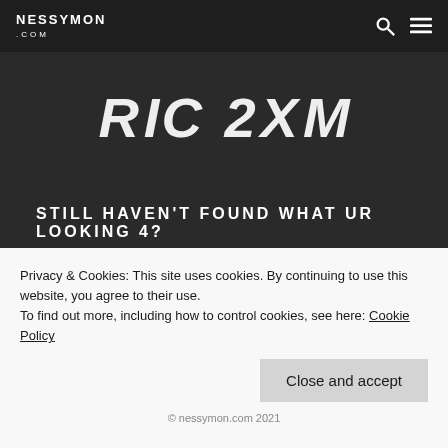NESSYMON .COM
[Figure (logo): Large stylized text logo reading 'RIC 2XM' in bold white italic font on dark background]
STILL HAVEN'T FOUND WHAT UR LOOKING 4?
Search
Privacy & Cookies: This site uses cookies. By continuing to use this website, you agree to their use.
To find out more, including how to control cookies, see here: Cookie Policy
Close and accept
© nessymon.com 2021